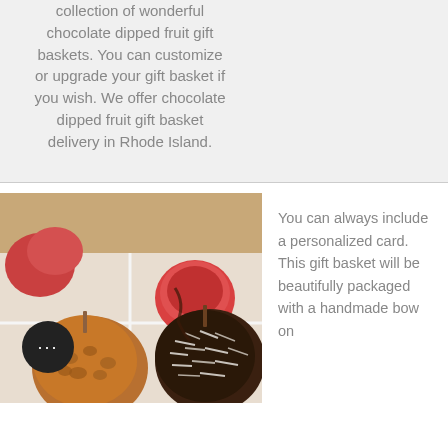collection of wonderful chocolate dipped fruit gift baskets. You can customize or upgrade your gift basket if you wish. We offer chocolate dipped fruit gift basket delivery in Rhode Island.
[Figure (photo): Photo of chocolate dipped fruit treats including caramel apples coated in nuts and coconut, on a white plate with apples in the background]
You can always include a personalized card. This gift basket will be beautifully packaged with a handmade bow on